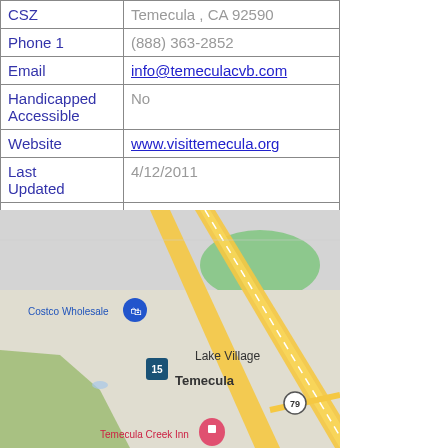| CSZ | Temecula , CA 92590 |
| Phone 1 | (888) 363-2852 |
| Email | info@temeculacvb.com |
| Handicapped Accessible | No |
| Website | www.visittemecula.org |
| Last Updated | 4/12/2011 |
|  |  |
[Figure (map): Google Maps screenshot showing Temecula, CA area with Lake Village, Costco Wholesale, Highway 15, Highway 79, and Temecula Creek Inn labeled.]